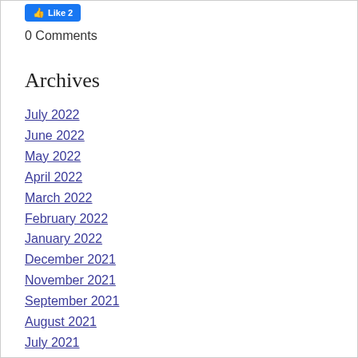[Figure (other): Facebook Like button showing 'Like 2' in blue]
0 Comments
Archives
July 2022
June 2022
May 2022
April 2022
March 2022
February 2022
January 2022
December 2021
November 2021
September 2021
August 2021
July 2021
June 2021
May 2021
April 2021
March 2021